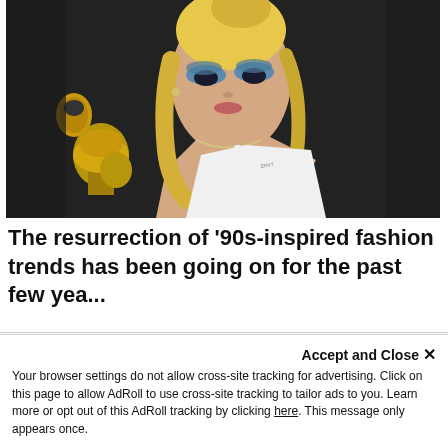[Figure (photo): A young woman with blonde hair in a bun and loose strands, wearing a white dress with thin straps, bold blue eyeshadow and dark makeup, a delicate chain necklace, and a small tattoo on her shoulder. A gold Grammy award trophy is visible in the background to her left. The backdrop is dark/black.]
The resurrection of '90s-inspired fashion trends has been going on for the past few yea...
Accept and Close ✕
Your browser settings do not allow cross-site tracking for advertising. Click on this page to allow AdRoll to use cross-site tracking to tailor ads to you. Learn more or opt out of this AdRoll tracking by clicking here. This message only appears once.